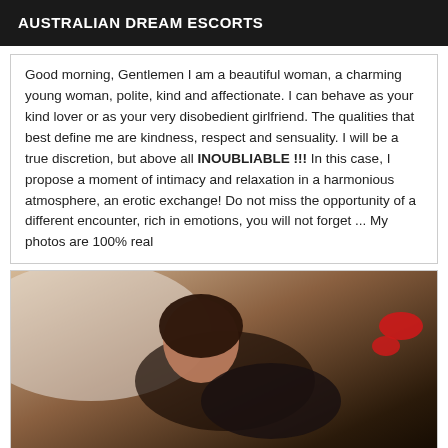AUSTRALIAN DREAM ESCORTS
Good morning, Gentlemen I am a beautiful woman, a charming young woman, polite, kind and affectionate. I can behave as your kind lover or as your very disobedient girlfriend. The qualities that best define me are kindness, respect and sensuality. I will be a true discretion, but above all INOUBLIABLE !!! In this case, I propose a moment of intimacy and relaxation in a harmonious atmosphere, an erotic exchange! Do not miss the opportunity of a different encounter, rich in emotions, you will not forget ... My photos are 100% real
[Figure (photo): Woman in black lingerie and red heels posing on a bed]